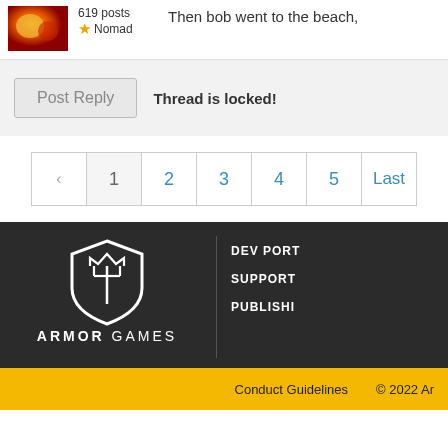619 posts
Nomad
Then bob went to the beach,
Post Reply   Thread is locked!
[Figure (other): Pagination bar with arrow back, pages 1, 2, 3, 4, 5, Last]
[Figure (logo): Armor Games shield logo with trident, white on dark background, with text ARMOR GAMES]
DEV PORT
SUPPORT
PUBLISHI
Conduct Guidelines   © 2022 Ar